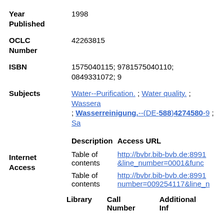Year Published: 1998
OCLC Number: 42263815
ISBN: 1575040115; 9781575040110; 0849331072; 9...
Subjects: Water--Purification. ; Water quality. ; Wassera... ; Wasserreinigung.--(DE-588)4274580-9 ; Sa...
| Description | Access URL |
| --- | --- |
| Table of contents | http://bvbr.bib-bvb.de:8991...&line_number=0001&func... |
| Table of contents | http://bvbr.bib-bvb.de:8991...number=009254117&line_n... |
Library  Call Number  Additional Inf...